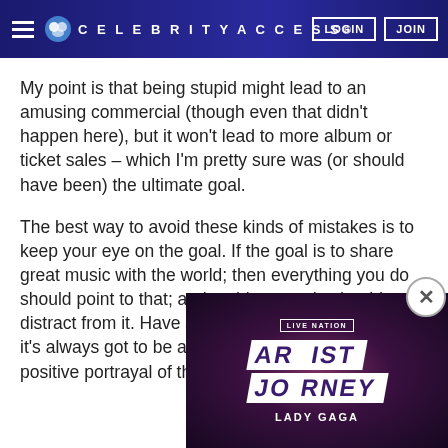CELEBRITYACCESS. LOGIN JOIN
My point is that being stupid might lead to an amusing commercial (though even that didn't happen here), but it won't lead to more album or ticket sales – which I'm pretty sure was (or should have been) the ultimate goal.
The best way to avoid these kinds of mistakes is to keep your eye on the goal. If the goal is to share great music with the world; then everything you do should point to that; and nothing you do should distract from it. Have some fun along the way. But it's always got to be about the music, or at least a positive portrayal of the person making it.
[Figure (screenshot): Live Nation Artist Journey Lady Gaga video thumbnail with close button overlay in bottom right corner of the page]